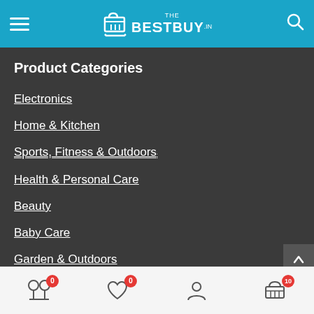THE BESTBUY.in
Product Categories
Electronics
Home & Kitchen
Sports, Fitness & Outdoors
Health & Personal Care
Beauty
Baby Care
Garden & Outdoors
Latest Deals & Offers
Amazon All Offers
Compare (0) | Wishlist (0) | Account | Cart (10)